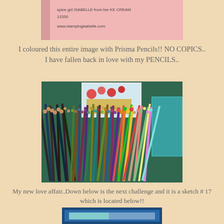[Figure (photo): Photo of a pink paper/card with stamped text including what appears to be 'ISABELLE' and a website url]
I coloured this entire image with Prisma Pencils!! NO COPICS.. I have fallen back in love with my PENCILS..
[Figure (photo): Photo of a large collection of colored pencils in a mesh holder/basket, with a colored artwork visible in the background]
My new love affair..Down below is the next challenge and it is a sketch # 17 which is located below!!
[Figure (illustration): Bottom of a sketch layout with blue and teal rectangular frames/borders visible]